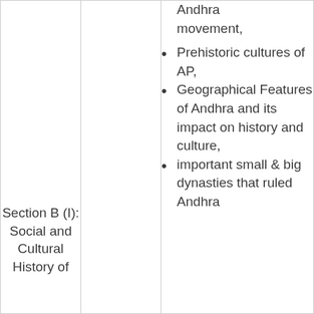| Section |  | Topics |
| --- | --- | --- |
| Section B (I): Social and Cultural History of |  | Andhra movement, Prehistoric cultures of AP, Geographical Features of Andhra and its impact on history and culture, important small & big dynasties that ruled Andhra |